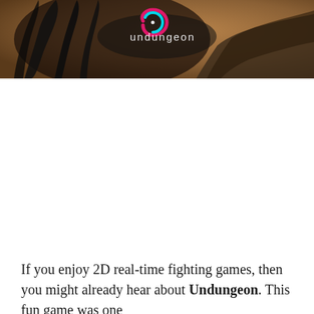[Figure (illustration): Banner image for the game Undungeon, showing a dark fantasy character with black hair against a warm background. The Undungeon logo with a stylized swirl icon is displayed in the upper center of the image.]
If you enjoy 2D real-time fighting games, then you might already hear about Undungeon. This fun game was one